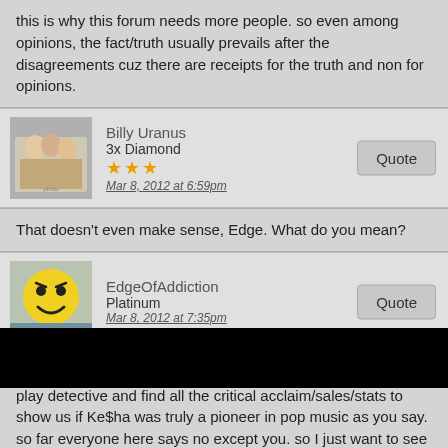this is why this forum needs more people. so even among opinions, the fact/truth usually prevails after the disagreements cuz there are receipts for the truth and non for opinions.
Billy Uranus
3x Diamond
Mar 8, 2012 at 6:59pm
That doesn't even make sense, Edge. What do you mean?
EdgeOfAddiction
Platinum
Mar 8, 2012 at 7:35pm
it means i need Andre from ATRL to come over here so he can play detective and find all the critical acclaim/sales/stats to show us if Ke$ha was truly a pioneer in pop music as you say. so far everyone here says no except you. so I just want to see who is really correct.